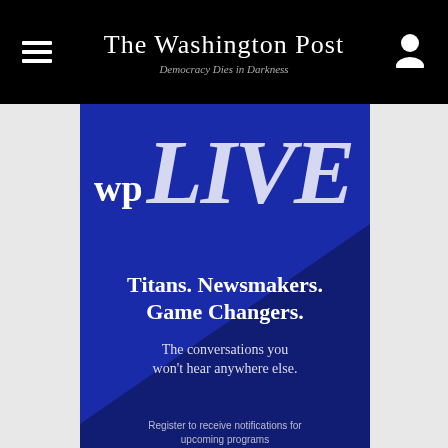The Washington Post — Democracy Dies in Darkness
[Figure (screenshot): Washington Post WP Live advertisement banner with dark blue background and diagonal stripe. Shows 'wp LIVE' logo, tagline 'Titans. Newsmakers. Game Changers.', subtext 'The conversations you won't hear anywhere else.', register notification prompt, and a register button.]